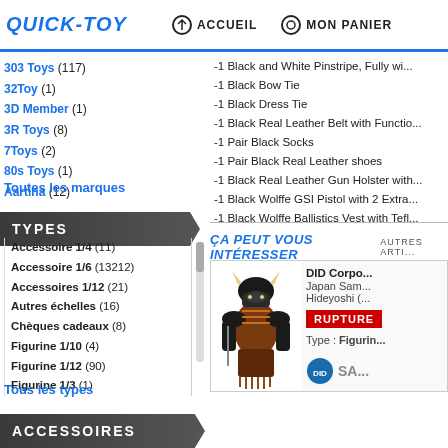QUICK-TOY | ACCUEIL | MON PANIER
303 Toys (117)
32Toy (1)
3D Member (1)
3R Toys (8)
7Toys (2)
80s Toys (1)
Aartina (12)
Toutes les marques
TYPES
Accessoire 1/4 (11)
Accessoire 1/6 (13212)
Accessoires 1/12 (21)
Autres échelles (16)
Chèques cadeaux (8)
Figurine 1/10 (4)
Figurine 1/12 (90)
Figurine 1/3 (1)
Tous les types
ACCESSOIRES
-1 Black and White Pinstripe, Fully w...
-1 Black Bow Tie
-1 Black Dress Tie
-1 Black Real Leather Belt with Functi...
-1 Pair Black Socks
-1 Pair Black Real Leather shoes
-1 Black Real Leather Gun Holster wit...
-1 Black Wolffe GSI Pistol with 2 Extra...
-1 Black Wolffe Ballistics Vest with Tef...
ÇA PEUT VOUS INTÉRESSER | AUTRES ARTI...
[Figure (photo): DID Corporation Japan Samurai Hideyoshi figurine in full armor]
DID Corpo...
Japan Sam...
Hideyoshi (...
RUPTURE
Type : Figurin...